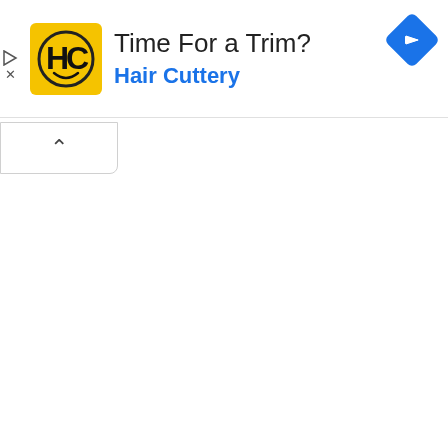[Figure (screenshot): Mobile advertisement banner for Hair Cuttery. Shows yellow HC logo on left, text 'Time For a Trim?' and 'Hair Cuttery' in blue, blue navigation diamond icon on right. Below the ad is a collapse/minimize chevron button. Rest of page is white/blank.]